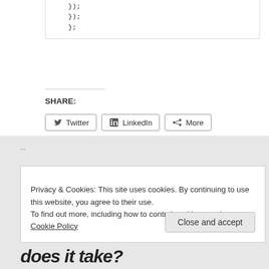});
    });
    };
SHARE:
Twitter  LinkedIn  More
LIKE THIS:
Loading...
Privacy & Cookies: This site uses cookies. By continuing to use this website, you agree to their use.
To find out more, including how to control cookies, see here: Cookie Policy
Close and accept
does it take?